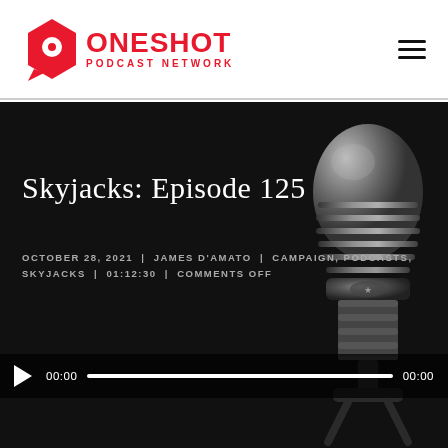[Figure (logo): One Shot Podcast Network logo — red hexagonal speech bubble icon with a dot, next to red text reading ONESHOT and PODCAST NETWORK]
Skyjacks: Episode 125
OCTOBER 28, 2021  |  JAMES D'AMATO  |  CAMPAIGN, PODCASTS, SKYJACKS  |  01:12:30  |  COMMENTS OFF
[Figure (photo): Close-up photograph of a vintage silver/chrome microphone on dark background]
00:00  [progress bar]  00:00